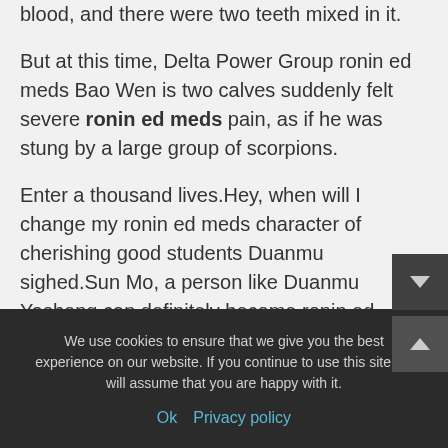blood, and there were two teeth mixed in it.
But at this time, Delta Power Group ronin ed meds Bao Wen is two calves suddenly felt severe ronin ed meds pain, as if he was stung by a large group of scorpions.
Enter a thousand lives.Hey, when will I change my ronin ed meds character of cherishing good students Duanmu sighed.Sun Mo, a person like Duanmu Yasheng can definitely become ronin ed meds Renegade Male Enhancement Pills a good teacher and friend on the road of ...Enhancement Pills road to your famous teacher.
A roommate was sitting who already...
We use cookies to ensure that we give you the best experience on our website. If you continue to use this site we will assume that you are happy with it.
Ok   Privacy policy